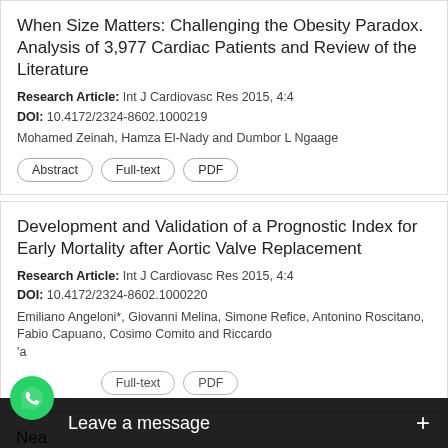When Size Matters: Challenging the Obesity Paradox. Analysis of 3,977 Cardiac Patients and Review of the Literature
Research Article: Int J Cardiovasc Res 2015, 4:4
DOI: 10.4172/2324-8602.1000219
Mohamed Zeinah, Hamza El-Nady and Dumbor L Ngaage
Development and Validation of a Prognostic Index for Early Mortality after Aortic Valve Replacement
Research Article: Int J Cardiovasc Res 2015, 4:4
DOI: 10.4172/2324-8602.1000220
Emiliano Angeloni*, Giovanni Melina, Simone Refice, Antonino Roscitano, Fabio Capuano, Cosimo Comito and Riccardo
'a
Nea
[Figure (other): WhatsApp chat bubble icon and 'Leave a message +' overlay bar at bottom of screen]